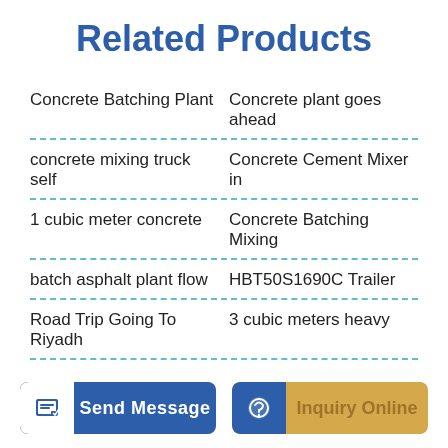Related Products
Concrete Batching Plant   |   Concrete plant goes ahead
concrete mixing truck self   |   Concrete Cement Mixer in
1 cubic meter concrete   |   Concrete Batching Mixing
batch asphalt plant flow   |   HBT50S1690C Trailer
Road Trip Going To Riyadh   |   3 cubic meters heavy
[Figure (infographic): Send Message button with white icon on blue background and Inquiry Online button with blue icon on gold/tan background]